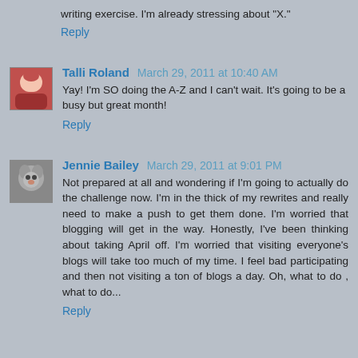writing exercise. I'm already stressing about "X."
Reply
Talli Roland  March 29, 2011 at 10:40 AM
Yay! I'm SO doing the A-Z and I can't wait. It's going to be a busy but great month!
Reply
Jennie Bailey  March 29, 2011 at 9:01 PM
Not prepared at all and wondering if I'm going to actually do the challenge now. I'm in the thick of my rewrites and really need to make a push to get them done. I'm worried that blogging will get in the way. Honestly, I've been thinking about taking April off. I'm worried that visiting everyone's blogs will take too much of my time. I feel bad participating and then not visiting a ton of blogs a day. Oh, what to do , what to do...
Reply